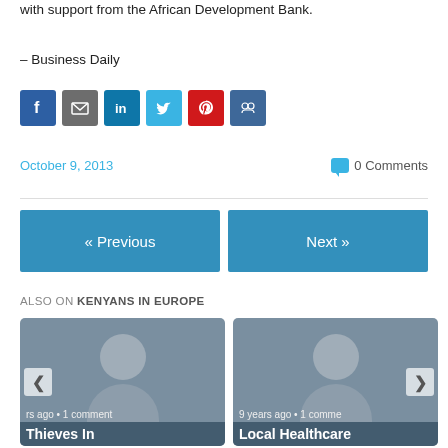with support from the African Development Bank.
– Business Daily
[Figure (infographic): Social sharing icons: Facebook, Email, LinkedIn, Twitter, Pinterest, Google+]
October 9, 2013
0 Comments
« Previous
Next »
ALSO ON KENYANS IN EUROPE
[Figure (screenshot): Card: avatar placeholder, left arrow, 'rs ago • 1 comment', title 'Thieves In']
[Figure (screenshot): Card: avatar placeholder, right arrow, '9 years ago • 1 comme', title 'Local Healthcare']